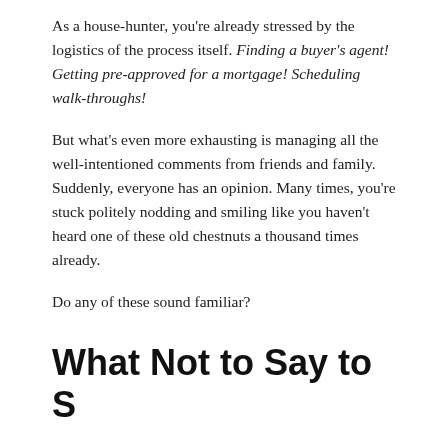As a house-hunter, you're already stressed by the logistics of the process itself. Finding a buyer's agent! Getting pre-approved for a mortgage! Scheduling walk-throughs!
But what's even more exhausting is managing all the well-intentioned comments from friends and family. Suddenly, everyone has an opinion. Many times, you're stuck politely nodding and smiling like you haven't heard one of these old chestnuts a thousand times already.
Do any of these sound familiar?
What Not to Say to Someone Who Is...